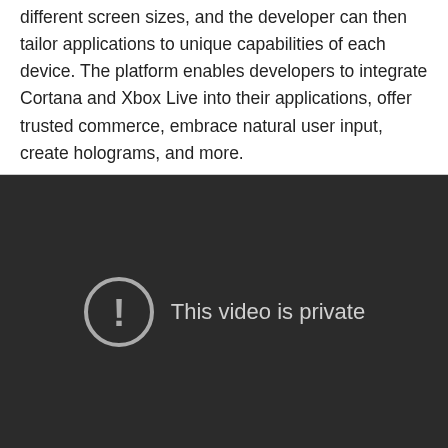different screen sizes, and the developer can then tailor applications to unique capabilities of each device. The platform enables developers to integrate Cortana and Xbox Live into their applications, offer trusted commerce, embrace natural user input, create holograms, and more.
[Figure (screenshot): Embedded video player showing a dark background with a circle-exclamation icon and the message 'This video is private']